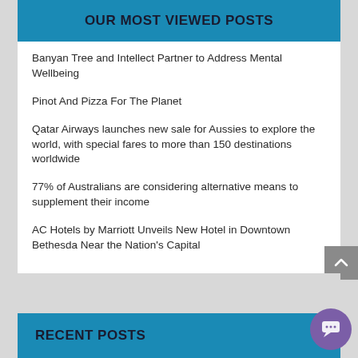OUR MOST VIEWED POSTS
Banyan Tree and Intellect Partner to Address Mental Wellbeing
Pinot And Pizza For The Planet
Qatar Airways launches new sale for Aussies to explore the world, with special fares to more than 150 destinations worldwide
77% of Australians are considering alternative means to supplement their income
AC Hotels by Marriott Unveils New Hotel in Downtown Bethesda Near the Nation’s Capital
RECENT POSTS